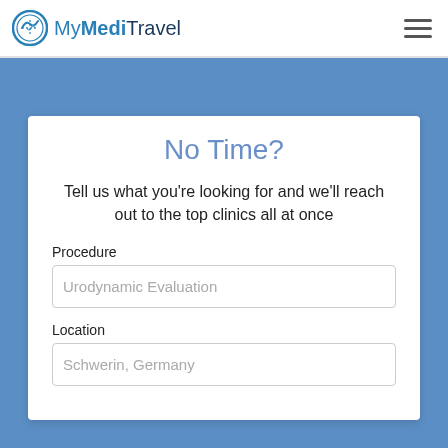MyMediTravel
No Time?
Tell us what you're looking for and we'll reach out to the top clinics all at once
Procedure
Urodynamic Evaluation
Location
Schwerin, Germany